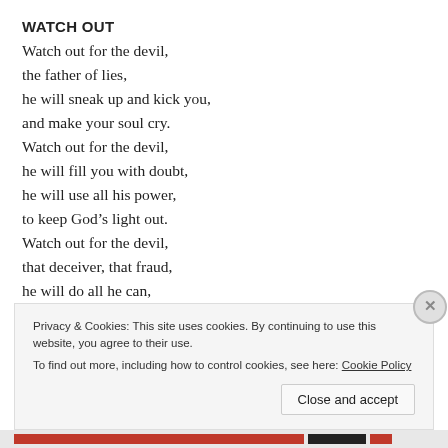WATCH OUT
Watch out for the devil,
the father of lies,
he will sneak up and kick you,
and make your soul cry.
Watch out for the devil,
he will fill you with doubt,
he will use all his power,
to keep God’s light out.
Watch out for the devil,
that deceiver, that fraud,
he will do all he can,
Privacy & Cookies: This site uses cookies. By continuing to use this website, you agree to their use.
To find out more, including how to control cookies, see here: Cookie Policy
Close and accept